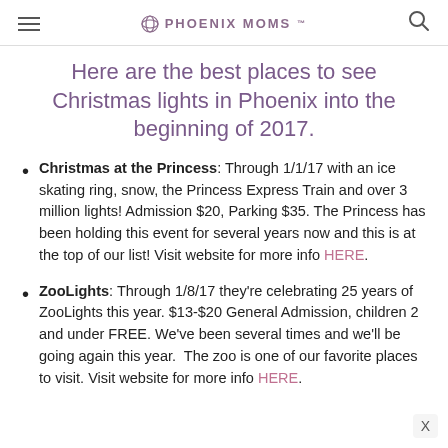PHOENIX MOMS
Here are the best places to see Christmas lights in Phoenix into the beginning of 2017.
Christmas at the Princess: Through 1/1/17 with an ice skating ring, snow, the Princess Express Train and over 3 million lights! Admission $20, Parking $35. The Princess has been holding this event for several years now and this is at the top of our list! Visit website for more info HERE.
ZooLights: Through 1/8/17 they're celebrating 25 years of ZooLights this year. $13-$20 General Admission, children 2 and under FREE. We've been several times and we'll be going again this year.  The zoo is one of our favorite places to visit. Visit website for more info HERE.